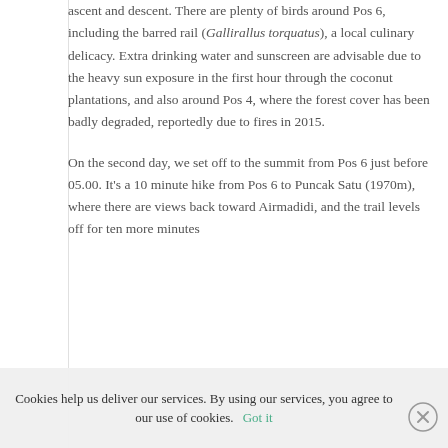ascent and descent. There are plenty of birds around Pos 6, including the barred rail (Gallirallus torquatus), a local culinary delicacy. Extra drinking water and sunscreen are advisable due to the heavy sun exposure in the first hour through the coconut plantations, and also around Pos 4, where the forest cover has been badly degraded, reportedly due to fires in 2015.
On the second day, we set off to the summit from Pos 6 just before 05.00. It's a 10 minute hike from Pos 6 to Puncak Satu (1970m), where there are views back toward Airmadidi, and the trail levels off for ten more minutes
Cookies help us deliver our services. By using our services, you agree to our use of cookies. Got it